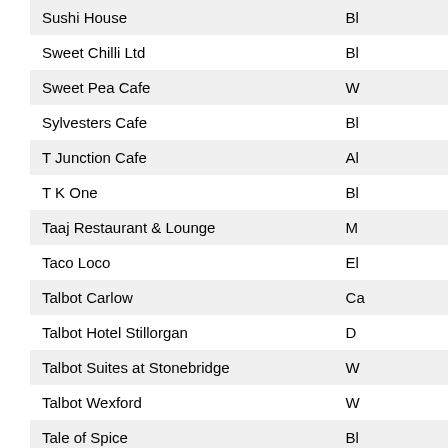| Name | Location |
| --- | --- |
| Sushi House | Bl |
| Sweet Chilli Ltd | Bl |
| Sweet Pea Cafe | W |
| Sylvesters Cafe | Bl |
| T Junction Cafe | Al |
| T K One | Bl |
| Taaj Restaurant & Lounge | M |
| Taco Loco | El |
| Talbot Carlow | Ca |
| Talbot Hotel Stillorgan | D |
| Talbot Suites at Stonebridge | W |
| Talbot Wexford | W |
| Tale of Spice | Bl |
| Tam O'Shanter | Ki |
| Tankardstown House | Sl |
| Tao | Bl |
| Taps 2 Winebar | Bl |
| Tara Hotel | Ki |